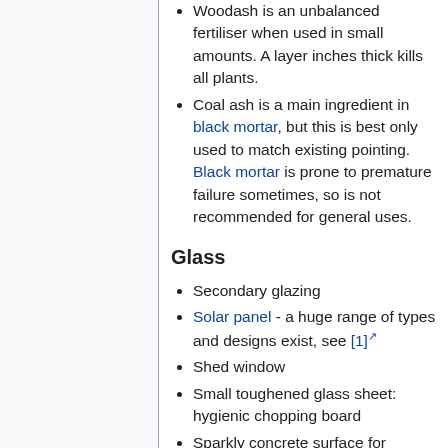Woodash is an unbalanced fertiliser when used in small amounts. A layer inches thick kills all plants.
Coal ash is a main ingredient in black mortar, but this is best only used to match existing pointing. Black mortar is prone to premature failure sometimes, so is not recommended for general uses.
Glass
Secondary glazing
Solar panel - a huge range of types and designs exist, see [1]
Shed window
Small toughened glass sheet: hygienic chopping board
Sparkly concrete surface for moulded concrete: break glass into small bits (mixer & brick), place some in mould